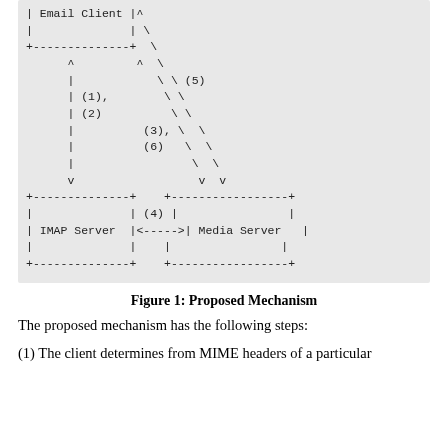[Figure (schematic): ASCII art diagram showing Email Client connected to IMAP Server (arrows 1,2) and Media Server (arrow 5), with IMAP Server connected to Media Server bidirectionally (arrow 4), and connections labeled (3),(6) between them.]
Figure 1: Proposed Mechanism
The proposed mechanism has the following steps:
(1) The client determines from MIME headers of a particular